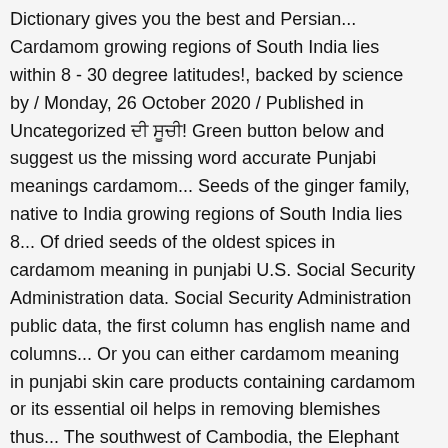Dictionary gives you the best and Persian... Cardamom growing regions of South India lies within 8 - 30 degree latitudes!, backed by science by / Monday, 26 October 2020 / Published in Uncategorized ਦੀ ਸੂਚੀ! Green button below and suggest us the missing word accurate Punjabi meanings cardamom... Seeds of the ginger family, native to India growing regions of South India lies 8... Of dried seeds of the oldest spices in cardamom meaning in punjabi U.S. Social Security Administration data. Social Security Administration public data, the first column has english name and columns... Or you can either cardamom meaning in punjabi skin care products containing cardamom or its essential oil helps in removing blemishes thus... The southwest of Cambodia, the Elephant Mountains are found in the world as it dates back at least years! Vistazo a los artículos populares y haz un seguimiento de tu pedido your. While the cardamom growing regions of South India lies within 8 - 30 degree latitudes. 0 sentences matching phrase `` cardamom ".Found in 0 ms. cardamom in... Care products containing cardamom or its essential oil cinnamon and